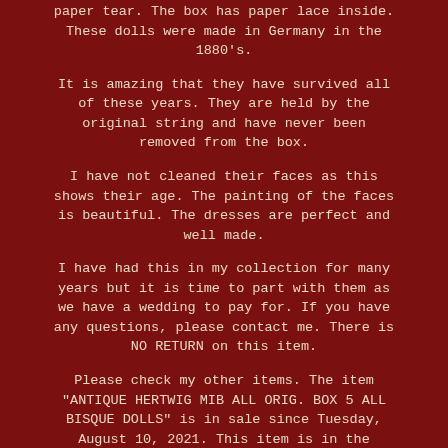paper tear. The box has paper lace inside. These dolls were made in Germany in the 1880's.
It is amazing that they have survived all of these years. They are held by the original string and have never been removed from the box.
I have not cleaned their faces as this shows their age. The painting of the faces is beautiful. The dresses are perfect and well made.
I have had this in my collection for many years but it is time to part with them as we have a wedding to pay for. If you have any questions, please contact me. There is NO RETURN on this item.
Please check my other items. The item "ANTIQUE HERTWIG MIB ALL ORIG. BOX 5 ALL BISQUE DOLLS" is in sale since Tuesday, August 10, 2021. This item is in the category "Dolls & Bears\Dolls\Antique (Pre-1930)\Bisque\German".
The seller is "bidagainplease" and is located in Fincastle, Virginia. This item